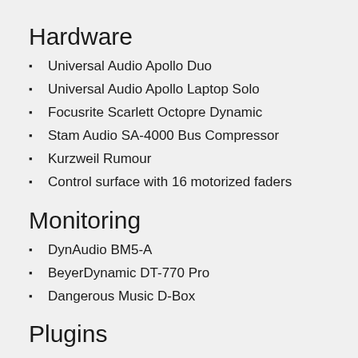Hardware
Universal Audio Apollo Duo
Universal Audio Apollo Laptop Solo
Focusrite Scarlett Octopre Dynamic
Stam Audio SA-4000 Bus Compressor
Kurzweil Rumour
Control surface with 16 motorized faders
Monitoring
DynAudio BM5-A
BeyerDynamic DT-770 Pro
Dangerous Music D-Box
Plugins
A large selection of UAD-2 plugins like LA-2A,